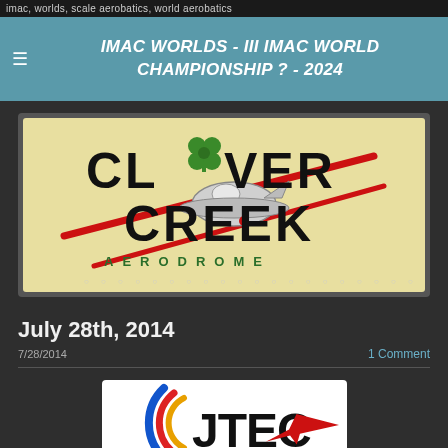imac, worlds, scale aerobatics, world aerobatics
IMAC WORLDS - III IMAC WORLD CHAMPIONSHIP ? - 2024
[Figure (logo): Clover Creek Aerodrome logo on tan/khaki background with illustrated aircraft and red diagonal lines, plus dot navigation indicators]
July 28th, 2014
7/28/2014
1 Comment
[Figure (logo): JTEC logo with blue, red, yellow circular arc design and red aircraft silhouette]